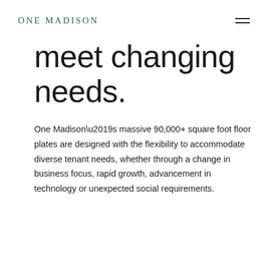ONE MADISON
meet changing needs.
One Madison’s massive 90,000+ square foot floor plates are designed with the flexibility to accommodate diverse tenant needs, whether through a change in business focus, rapid growth, advancement in technology or unexpected social requirements.